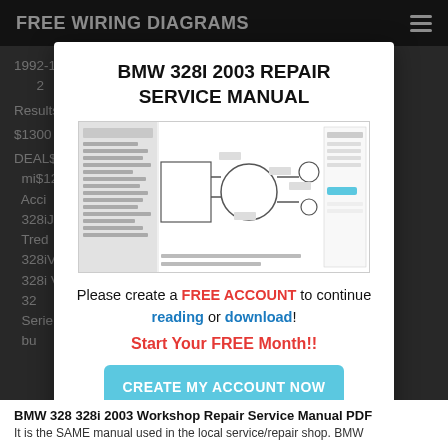FREE WIRING DIAGRAMS
BMW 328I 2003 REPAIR SERVICE MANUAL
[Figure (screenshot): Screenshot of a repair service manual PDF viewer showing a wiring/cooling system diagram with a file browser panel on the left and a form dialog on the right.]
Please create a FREE ACCOUNT to continue reading or download!
Start Your FREE Month!!
CREATE MY ACCOUNT NOW
BMW 328 328i 2003 Workshop Repair Service Manual PDF
It is the SAME manual used in the local service/repair shop. BMW